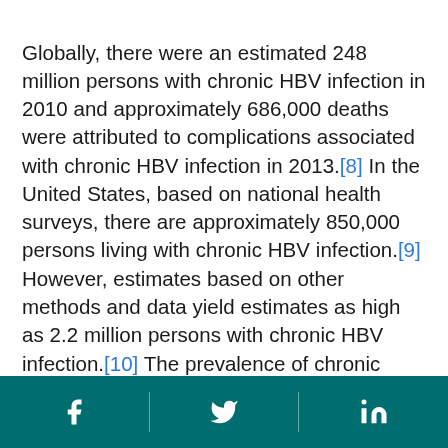Globally, there were an estimated 248 million persons with chronic HBV infection in 2010 and approximately 686,000 deaths were attributed to complications associated with chronic HBV infection in 2013.[8] In the United States, based on national health surveys, there are approximately 850,000 persons living with chronic HBV infection.[9] However, estimates based on other methods and data yield estimates as high as 2.2 million persons with chronic HBV infection.[10] The prevalence of chronic HBV infection in the United States is driven by foreign-born persons from HBV-endemic regions such as Africa, Asia, and the Pacific Islands.[10] Based on testing from the National Health and Nutrition Examination Survey, the age-adjusted prevalence of hepatitis B core antibody (anti-HBc) in the US
[Facebook icon] [Twitter icon] [LinkedIn icon]